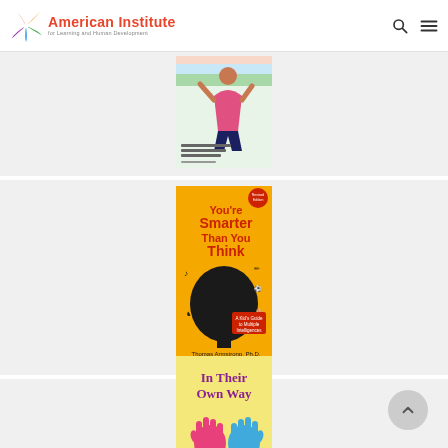American Institute for Learning and Human Development
[Figure (photo): Book cover: a child with arms raised, colorful background, text about neuroscience and educational practice]
[Figure (photo): Book cover: 'You're Smarter Than You Think - A Kid's Guide to Multiple Intelligences' by Thomas Armstrong, Ph.D. Orange background with silhouette of head and scattered icons]
[Figure (photo): Book cover: 'In Their Own Way' with pink and blue handprints on yellow background]